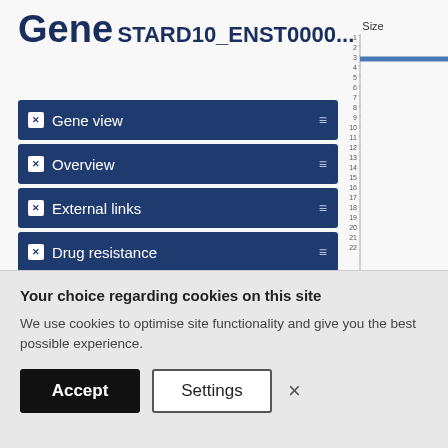Gene
STARD10_ENST0000...
Gene view
Overview
External links
Drug resistance
Tissue distribution
Genome browser
Mutation distribution
[Figure (continuous-plot): Size axis chart showing a vertical numbered scale from 1 to 21+, with a horizontal blue line at position 3 extending to the right edge of the page. The y-axis is labeled 'Size' at the top.]
Your choice regarding cookies on this site
We use cookies to optimise site functionality and give you the best possible experience.
Accept   Settings   ×